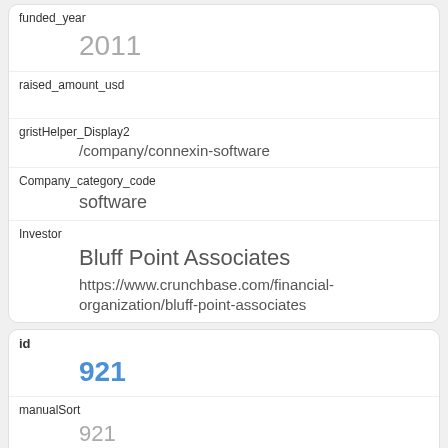funded_year
2011
raised_amount_usd
gristHelper_Display2
/company/connexin-software
Company_category_code
software
Investor
Bluff Point Associates
https://www.crunchbase.com/financial-organization/bluff-point-associates
id
921
manualSort
921
Company
349
investor_permalink
/financial-organization/blumberg-capital